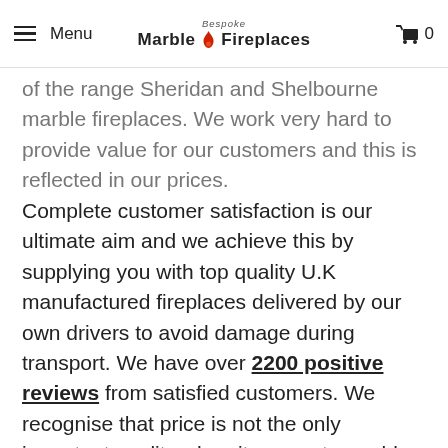Menu | Bespoke Marble Fireplaces | 0
of the range Sheridan and Shelbourne marble fireplaces. We work very hard to provide value for our customers and this is reflected in our prices. Complete customer satisfaction is our ultimate aim and we achieve this by supplying you with top quality U.K manufactured fireplaces delivered by our own drivers to avoid damage during transport. We have over 2200 positive reviews from satisfied customers. We recognise that price is not the only important quality when it comes to marble fireplaces and marble fire surrounds. You can be certain all our products are crafted to the highest standard; with state of the art